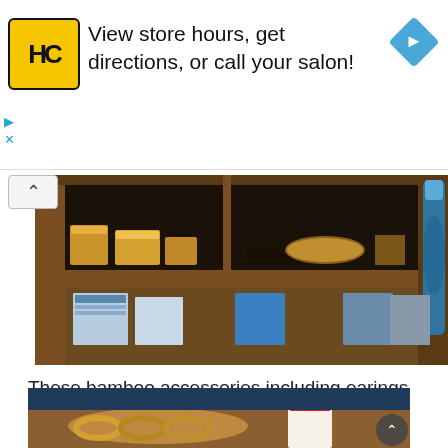[Figure (infographic): Advertisement banner with HC logo (yellow square with black HC letters), text 'View store hours, get directions, or call your salon!', and a blue diamond navigation icon on the right. Play and X controls at bottom left.]
[Figure (photo): Interior photo of a Japanese craft/souvenir shop shelf displaying bamboo accessories, small wooden boxes, woven items, and a blue decorative bottle/bag on the right side.]
These bamboo accessories including earings and rings will be a good souvenior for your girlfriend or mom.
[Figure (photo): Photo of bamboo rings and bracelets displayed on wooden trays on a table, with a decorative card in the background.]